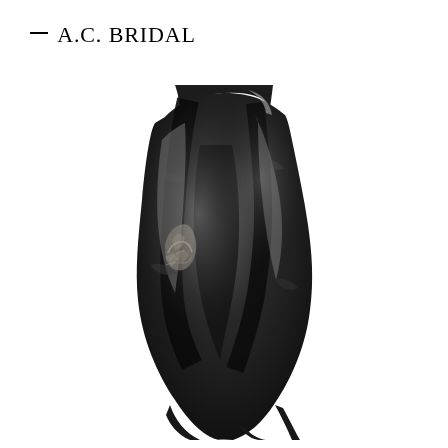— A.C. BRIDAL
[Figure (photo): Black and white close-up photograph of a hand covered in dark paint or pigment, with cracked and textured surface visible on the skin, shot against a white background]